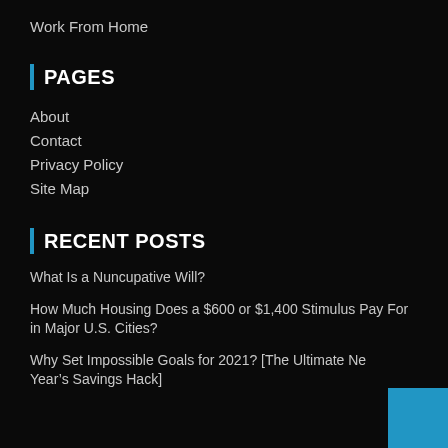Work From Home
PAGES
About
Contact
Privacy Policy
Site Map
RECENT POSTS
What Is a Nuncupative Will?
How Much Housing Does a $600 or $1,400 Stimulus Pay For in Major U.S. Cities?
Why Set Impossible Goals for 2021? [The Ultimate New Year’s Savings Hack]